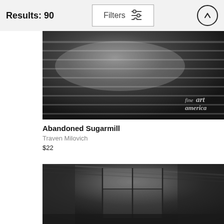Results: 90  Filters
[Figure (photo): Black and white photo of an abandoned sugarmill interior showing deteriorated brick walls with dramatic lighting]
Abandoned Sugarmill
Traven Milovich
$22
[Figure (photo): Black and white photo of an abandoned industrial building interior with large metal-framed windows and decaying walls]